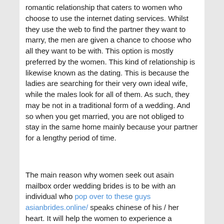romantic relationship that caters to women who choose to use the internet dating services. Whilst they use the web to find the partner they want to marry, the men are given a chance to choose who all they want to be with. This option is mostly preferred by the women. This kind of relationship is likewise known as the dating. This is because the ladies are searching for their very own ideal wife, while the males look for all of them. As such, they may be not in a traditional form of a wedding. And so when you get married, you are not obliged to stay in the same home mainly because your partner for a lengthy period of time.
The main reason why women seek out asain mailbox order wedding brides is to be with an individual who pop over to these guys asianbrides.online/ speaks chinese of his / her heart. It will help the women to experience a